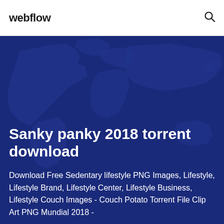webflow
Sanky panky 2018 torrent download
Download Free Sedentary lifestyle PNG Images, Lifestyle, Lifestyle Brand, Lifestyle Center, Lifestyle Business, Lifestyle Couch Images - Couch Potato Torrent File Clip Art PNG Mundial 2018 -